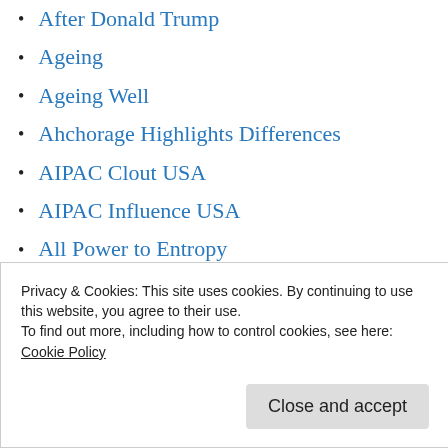After Donald Trump
Ageing
Ageing Well
Ahchorage Highlights Differences
AIPAC Clout USA
AIPAC Influence USA
All Power to Entropy
Ambitious Politicians Rule
America Abroad Horrors
America Adrift
America Advancing Backwards
Privacy & Cookies: This site uses cookies. By continuing to use this website, you agree to their use.
To find out more, including how to control cookies, see here:
Cookie Policy
America Devours Children